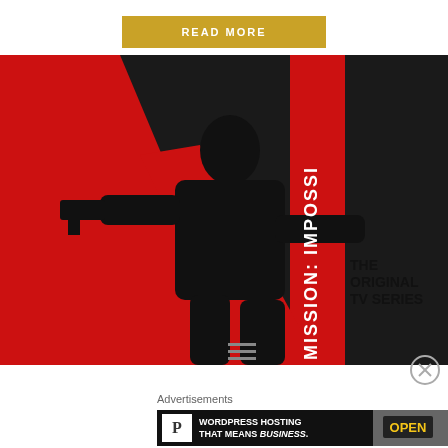READ MORE
[Figure (photo): Mission: Impossible – The Original TV Series movie poster showing a silhouetted man in action pose holding a gun against a red and white graphic background with vertical text reading MISSION: IMPOSSIBLE and THE ORIGINAL TV SERIES]
Advertisements
[Figure (other): WordPress Hosting That Means BUSINESS. advertisement banner with P icon and OPEN sign photo]